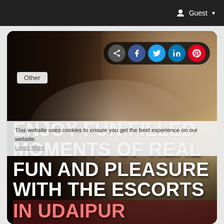Guest ▾
[Figure (screenshot): Website screenshot showing a card with a dark photo background of a person in a white shirt. Social share icons (share, Facebook, Twitter, LinkedIn, Pinterest) are visible at top right. An 'Other' category tag is shown. A cookie notice overlay reads 'This website uses cookies to ensure you get the best experience on our website. Learn More'. Large bold white text overlay reads 'ENJOY FUN FILLED MOMENTS OF REAL FUN AND PLEASURE WITH THE ESCORTS IN UDAIPUR' with the last line in red/pink on a dark red background.]
Other
This website uses cookies to ensure you get the best experience on our website. Learn More
ENJOY FUN FILLED MOMENTS OF REAL FUN AND PLEASURE WITH THE ESCORTS IN UDAIPUR